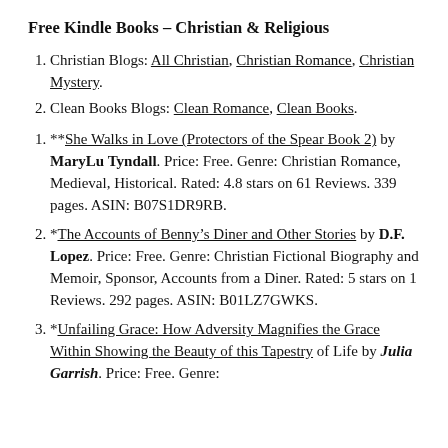Free Kindle Books – Christian & Religious
Christian Blogs: All Christian, Christian Romance, Christian Mystery.
Clean Books Blogs: Clean Romance, Clean Books.
**She Walks in Love (Protectors of the Spear Book 2) by MaryLu Tyndall. Price: Free. Genre: Christian Romance, Medieval, Historical. Rated: 4.8 stars on 61 Reviews. 339 pages. ASIN: B07S1DR9RB.
*The Accounts of Benny's Diner and Other Stories by D.F. Lopez. Price: Free. Genre: Christian Fictional Biography and Memoir, Sponsor, Accounts from a Diner. Rated: 5 stars on 1 Reviews. 292 pages. ASIN: B01LZ7GWKS.
*Unfailing Grace: How Adversity Magnifies the Grace Within Showing the Beauty of this Tapestry of Life by Julia Garrish. Price: Free. Genre: ...